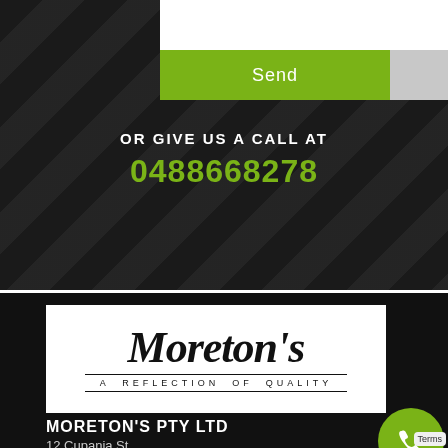[Figure (other): Green Send button on dark textured background with form input area]
OR GIVE US A CALL AT
0488668278
[Figure (logo): Moreton's logo with script text and tagline 'A REFLECTION OF QUALITY' on white background]
MORETON'S PTY LTD
12 Cupania St,